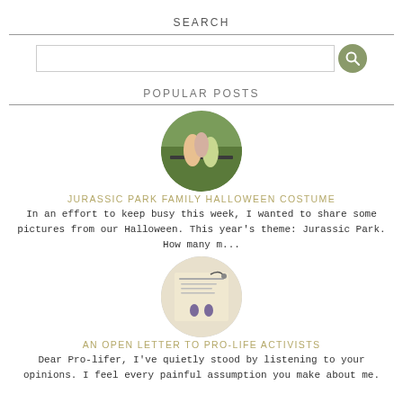SEARCH
[Figure (screenshot): Search input box with a sage green circular search button icon on the right]
POPULAR POSTS
[Figure (photo): Circular cropped photo of a family in Halloween costumes outdoors near a fence]
JURASSIC PARK FAMILY HALLOWEEN COSTUME
In an effort to keep busy this week, I wanted to share some pictures from our Halloween. This year's theme: Jurassic Park. How many m...
[Figure (photo): Circular cropped image of a memorial/sympathy card with small purple footprints and handwritten text]
AN OPEN LETTER TO PRO-LIFE ACTIVISTS
Dear Pro-lifer, I've quietly stood by listening to your opinions. I feel every painful assumption you make about me.